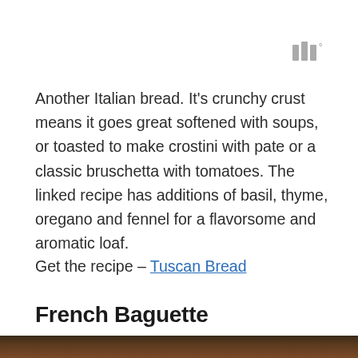[Figure (logo): Small gray logo consisting of three vertical bars and a degree symbol, positioned in upper right]
Another Italian bread. It's crunchy crust means it goes great softened with soups, or toasted to make crostini with pate or a classic bruschetta with tomatoes. The linked recipe has additions of basil, thyme, oregano and fennel for a flavorsome and aromatic loaf.
Get the recipe – Tuscan Bread
French Baguette
[Figure (photo): Bottom strip of a photo showing a baguette or bread loaf, cropped at the bottom of the page]